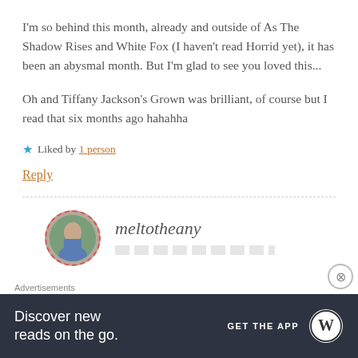I'm so behind this month, already and outside of As The Shadow Rises and White Fox (I haven't read Horrid yet), it has been an abysmal month. But I'm glad to see you loved this...
Oh and Tiffany Jackson's Grown was brilliant, of course but I read that six months ago hahahha
★ Liked by 1 person
Reply
meltotheany
Advertisements
Discover new reads on the go.
GET THE APP